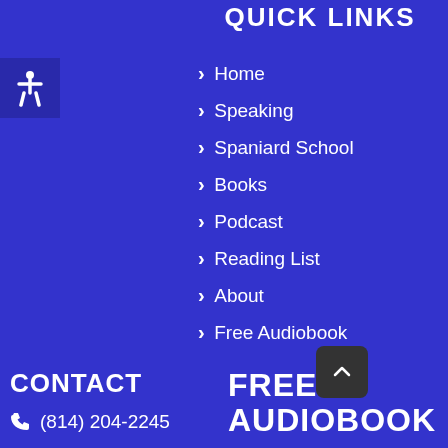QUICK LINKS
Home
Speaking
Spaniard School
Books
Podcast
Reading List
About
Free Audiobook
CONTACT
(814) 204-2245
FREE AUDIOBOOK